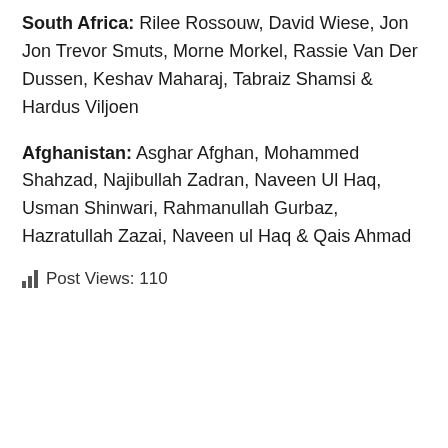South Africa: Rilee Rossouw, David Wiese, Jon Jon Trevor Smuts, Morne Morkel, Rassie Van Der Dussen, Keshav Maharaj, Tabraiz Shamsi & Hardus Viljoen
Afghanistan: Asghar Afghan, Mohammed Shahzad, Najibullah Zadran, Naveen Ul Haq, Usman Shinwari, Rahmanullah Gurbaz, Hazratullah Zazai, Naveen ul Haq & Qais Ahmad
Post Views: 110